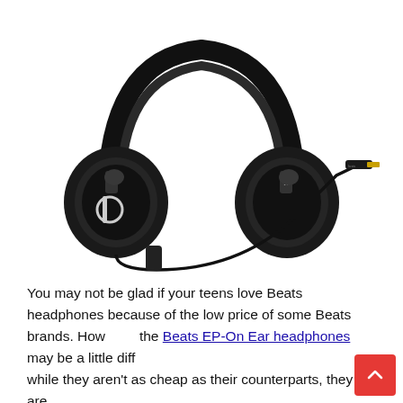[Figure (photo): Black Beats EP On-Ear wired headphones with the 'b' logo on the left ear cup, shown with the cable and 3.5mm audio jack visible, on a white background]
You may not be glad if your teens love Beats headphones because of the low price of some Beats brands. However, the Beats EP-On Ear headphones may be a little different — while they aren't as cheap as their counterparts, they are